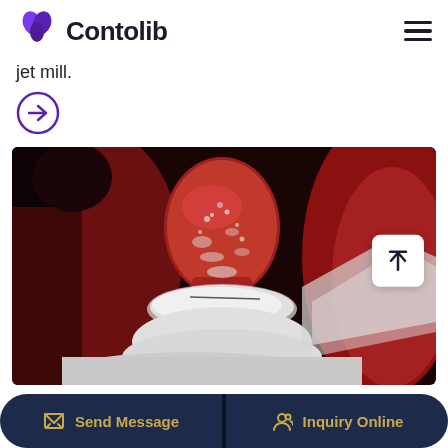Contolib
jet mill.
[Figure (other): Arrow icon (circle with right-pointing arrow) in purple/blue color]
[Figure (photo): Close-up photo of industrial jet mill components — red/dark red metal parts covered with white powder (likely mineral powder), showing the milling chamber interior with a nozzle-shaped component surrounded by accumulated white powder]
Send Message    Inquiry Online